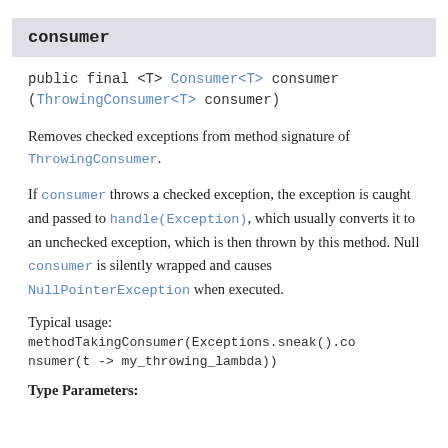consumer
public final <T> Consumer<T> consumer
(ThrowingConsumer<T> consumer)
Removes checked exceptions from method signature of ThrowingConsumer.
If consumer throws a checked exception, the exception is caught and passed to handle(Exception), which usually converts it to an unchecked exception, which is then thrown by this method. Null consumer is silently wrapped and causes NullPointerException when executed.
Typical usage:
methodTakingConsumer(Exceptions.sneak().consumer(t -> my_throwing_lambda))
Type Parameters: